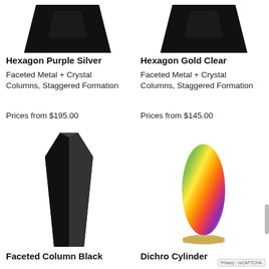[Figure (photo): Black faceted hexagon trophy/award top portion, dark trapezoid shape on white background]
Hexagon Purple Silver
Faceted Metal + Crystal Columns, Staggered Formation
Prices from $195.00
[Figure (photo): Black faceted hexagon trophy/award top portion, dark trapezoid shape on white background]
Hexagon Gold Clear
Faceted Metal + Crystal Columns, Staggered Formation
Prices from $145.00
[Figure (photo): Tall black faceted column award/trophy, geometric angular black column on white background]
[Figure (photo): White oval glass cylinder award with colorful dichroic rainbow pattern inside, on gold base]
Faceted Column Black
Dichro Cylinder